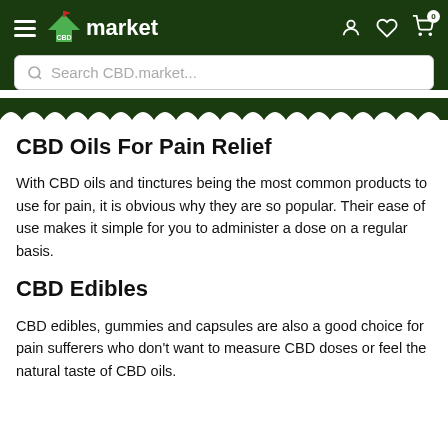CBD market — Search CBD.market...
CBD Oils For Pain Relief
With CBD oils and tinctures being the most common products to use for pain, it is obvious why they are so popular. Their ease of use makes it simple for you to administer a dose on a regular basis.
CBD Edibles
CBD edibles, gummies and capsules are also a good choice for pain sufferers who don't want to measure CBD doses or feel the natural taste of CBD oils.